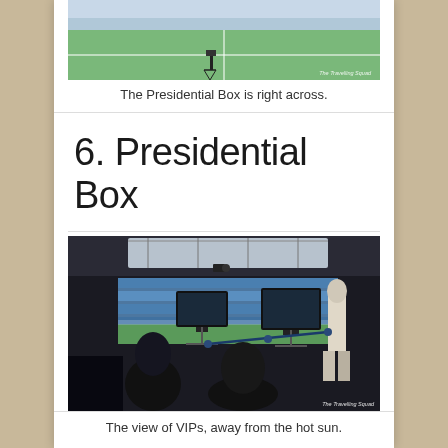[Figure (photo): Aerial view of a stadium field from a box seat, with The Travelling Squad watermark]
The Presidential Box is right across.
6. Presidential Box
[Figure (photo): Interior view of the Presidential Box at a stadium, showing seated VIP visitors, TV screens, and a standing person looking out over the field, with The Travelling Squad watermark]
The view of VIPs, away from the hot sun.